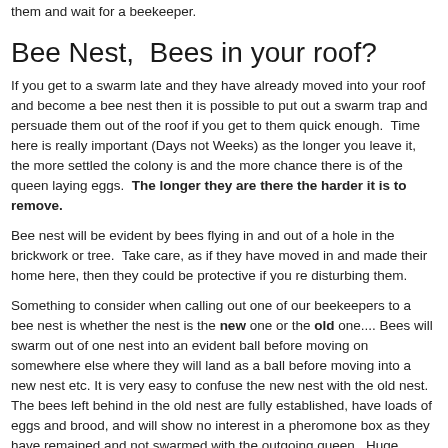them and wait for a beekeeper.
Bee Nest,  Bees in your roof?
If you get to a swarm late and they have already moved into your roof and become a bee nest then it is possible to put out a swarm trap and persuade them out of the roof if you get to them quick enough.  Time here is really important (Days not Weeks) as the longer you leave it, the more settled the colony is and the more chance there is of the queen laying eggs.  The longer they are there the harder it is to remove.
Bee nest will be evident by bees flying in and out of a hole in the brickwork or tree.  Take care, as if they have moved in and made their home here, then they could be protective if you re disturbing them.
Something to consider when calling out one of our beekeepers to a bee nest is whether the nest is the new one or the old one.... Bees will swarm out of one nest into an evident ball before moving on somewhere else where they will land as a ball before moving into a new nest etc. It is very easy to confuse the new nest with the old nest.  The bees left behind in the old nest are fully established, have loads of eggs and brood, and will show no interest in a pheromone box as they have remained and not swarmed with the outgoing queen.  Huge difference in how a beekeeper will deal with these two very different situations.
The bees nest could have been there for a long time. Many beekeepers will be happy coming to talk or to sort your bees nest but it is important